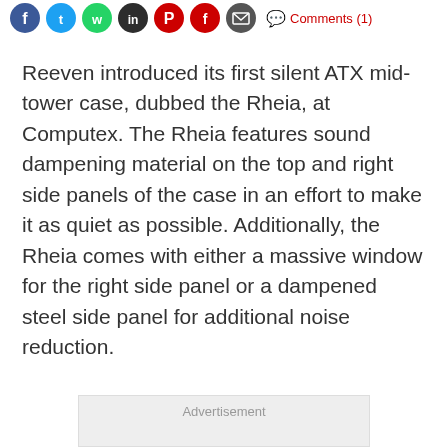[Figure (other): Social media share icons (Facebook, Twitter, WhatsApp, LinkedIn, Pinterest, Flipboard, Email) and a red Comments (1) link]
Reeven introduced its first silent ATX mid-tower case, dubbed the Rheia, at Computex. The Rheia features sound dampening material on the top and right side panels of the case in an effort to make it as quiet as possible. Additionally, the Rheia comes with either a massive window for the right side panel or a dampened steel side panel for additional noise reduction.
[Figure (other): Advertisement placeholder box with grey background]